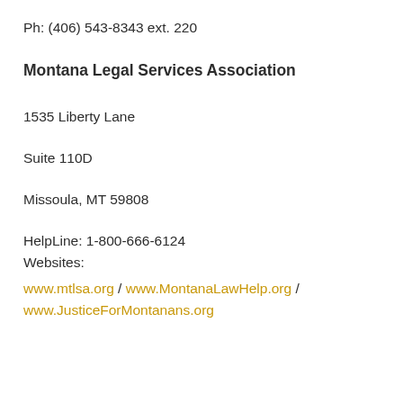Ph: (406) 543-8343 ext. 220
Montana Legal Services Association
1535 Liberty Lane
Suite 110D
Missoula, MT 59808
HelpLine: 1-800-666-6124
Websites:
www.mtlsa.org / www.MontanaLawHelp.org / www.JusticeForMontanans.org